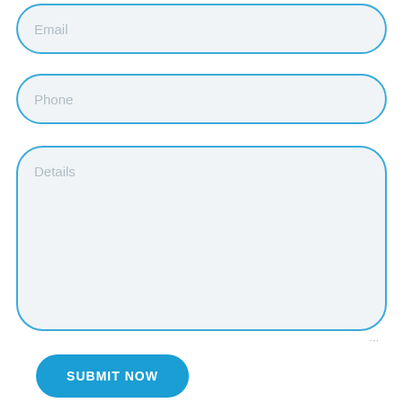Email
Phone
Details
SUBMIT NOW